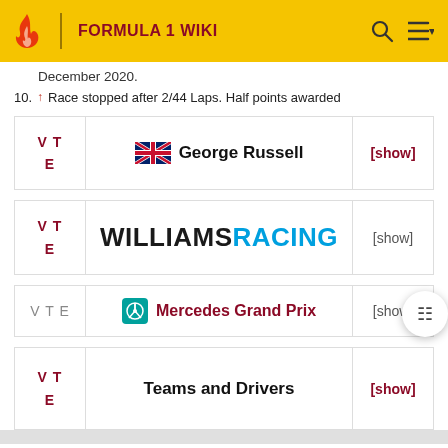FORMULA 1 WIKI
December 2020.
10. ↑ Race stopped after 2/44 Laps. Half points awarded
| V T E | George Russell | [show] |
| --- | --- | --- |
| V T E | WILLIAMS RACING | [show] |
| --- | --- | --- |
| V T E | Mercedes Grand Prix | [show] |
| --- | --- | --- |
| V T E | Teams and Drivers | [show] |
| --- | --- | --- |